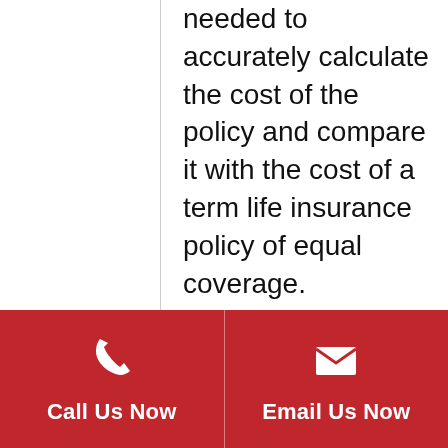needed to accurately calculate the cost of the policy and compare it with the cost of a term life insurance policy of equal coverage.

Today life insurance companies are
[Figure (infographic): Red footer bar with two call-to-action buttons: phone icon with 'Call Us Now' on the left, and email icon with 'Email Us Now' on the right, separated by a vertical divider.]